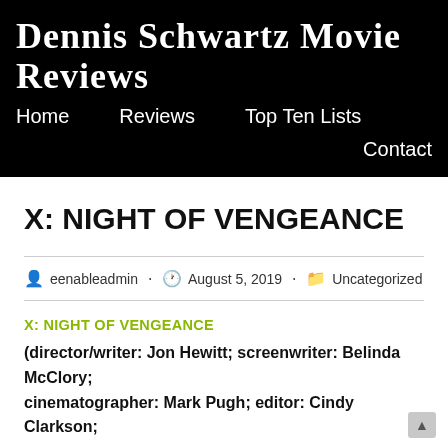Dennis Schwartz Movie Reviews
Home   Reviews   Top Ten Lists   Contact
X: NIGHT OF VENGEANCE
eenableadmin  ·  August 5, 2019  ·  Uncategorized
X: NIGHT OF VENGEANCE
(director/writer: Jon Hewitt; screenwriter: Belinda McClory; cinematographer: Mark Pugh; editor: Cindy Clarkson;